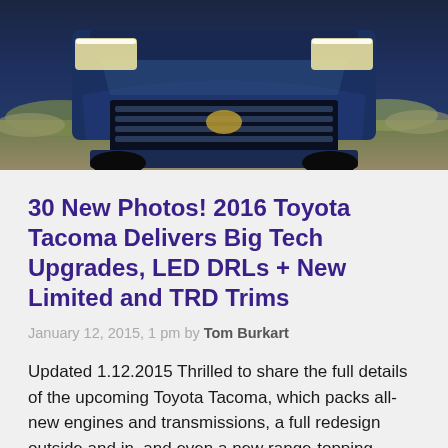[Figure (photo): Front view of a dark blue Toyota Tacoma truck driving on a dirt/desert road, photographed head-on showing the grille and headlights.]
30 New Photos! 2016 Toyota Tacoma Delivers Big Tech Upgrades, LED DRLs + New Limited and TRD Trims
January 12, 2015, 1 pm by Tom Burkart
Updated 1.12.2015 Thrilled to share the full details of the upcoming Toyota Tacoma, which packs all-new engines and transmissions, a full redesign outside and in, and even a new range-topping Limited trim level. The biggest news for the best-selling Tacoma is the addition of six-speed automatics for the base four-cylinder trucks and the top 3.5-liter V6. The new